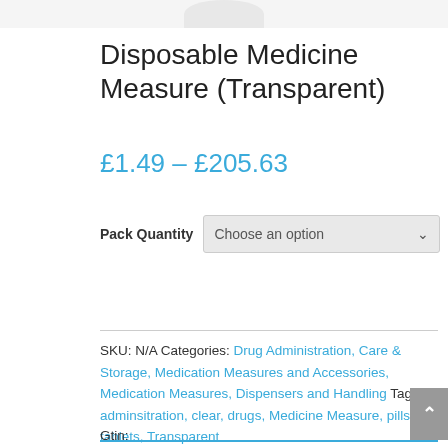[Figure (photo): Partial view of a white medicine measure/cup product image at top of page]
Disposable Medicine Measure (Transparent)
£1.49 – £205.63
Pack Quantity   Choose an option
SKU: N/A Categories: Drug Administration, Care & Storage, Medication Measures and Accessories, Medication Measures, Dispensers and Handling Tags: adminsitration, clear, drugs, Medicine Measure, pills, tablets, Transparent
Gtin: